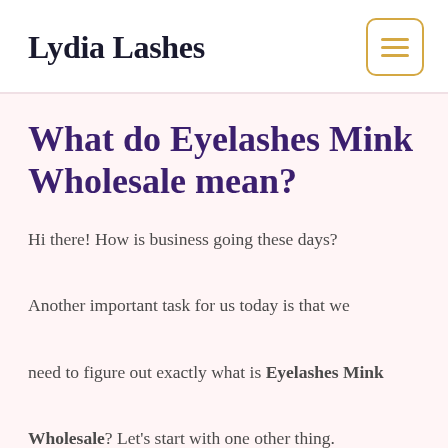Lydia Lashes
What do Eyelashes Mink Wholesale mean?
Hi there! How is business going these days?

Another important task for us today is that we need to figure out exactly what is Eyelashes Mink Wholesale? Let's start with one other thing.